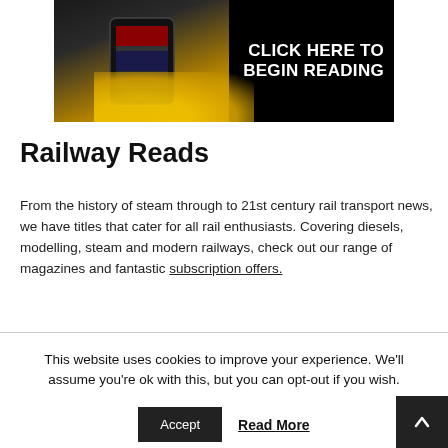[Figure (advertisement): Dark advertisement banner with yellow splash background, phone graphic on left, and 'CLICK HERE TO BEGIN READING' text in bold white on the right.]
Railway Reads
From the history of steam through to 21st century rail transport news, we have titles that cater for all rail enthusiasts. Covering diesels, modelling, steam and modern railways, check out our range of magazines and fantastic subscription offers.
This website uses cookies to improve your experience. We'll assume you're ok with this, but you can opt-out if you wish.